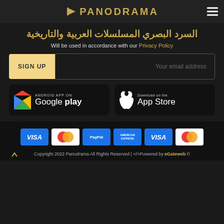PANODRAMA
السرد البصرب المسلسلات العربية والتاريخية
Will be used in accordance with our Privacy Policy
SIGN UP | Your email address
[Figure (logo): Android App on Google Play button]
[Figure (logo): Download on the App Store button]
[Figure (infographic): Payment method icons: VISA, Mastercard, PayPal, American Express, VISA, Mastercard]
Copyright 2022 Panodrama All Rights Reserved | </>Powered by eGateweb ©